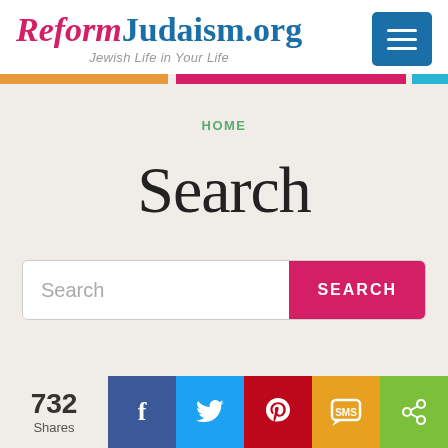[Figure (logo): ReformJudaism.org logo with tagline 'Jewish Life in Your Life' and hamburger menu button]
[Figure (other): Horizontal color stripe bar: orange, pink, blue]
HOME
Search
[Figure (other): Search input field with placeholder 'Search' and a pink SEARCH button]
[Figure (other): Social share bar: 732 Shares, Facebook, Twitter, Pinterest, SMS, Share icons]